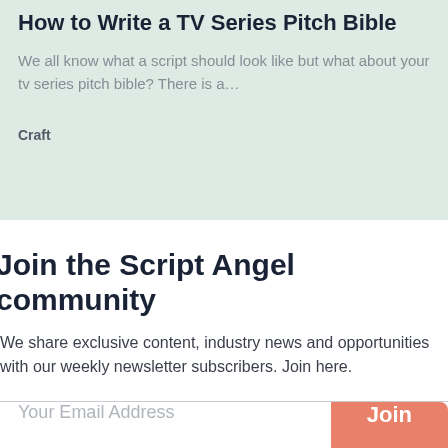How to Write a TV Series Pitch Bible
We all know what a script should look like but what about your tv series pitch bible? There is a…
Craft
Join the Script Angel community
We share exclusive content, industry news and opportunities with our weekly newsletter subscribers. Join here.
Your Email Address
Join